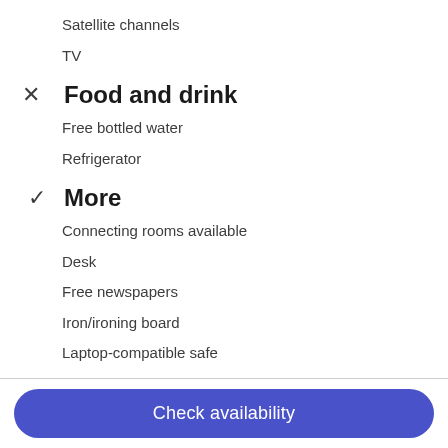Satellite channels
TV
Food and drink
Free bottled water
Refrigerator
More
Connecting rooms available
Desk
Free newspapers
Iron/ironing board
Laptop-compatible safe
Laptop-friendly workspace
Phone
Slippers
Check availability